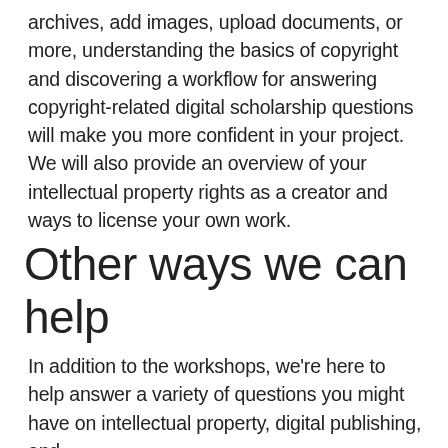archives, add images, upload documents, or more, understanding the basics of copyright and discovering a workflow for answering copyright-related digital scholarship questions will make you more confident in your project. We will also provide an overview of your intellectual property rights as a creator and ways to license your own work.
Other ways we can help
In addition to the workshops, we're here to help answer a variety of questions you might have on intellectual property, digital publishing, and